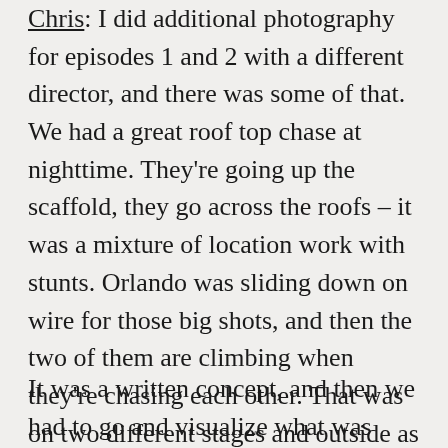Chris: I did additional photography for episodes 1 and 2 with a different director, and there was some of that. We had a great roof top chase at nighttime. They're going up the scaffold, they go across the roofs – it was a mixture of location work with stunts. Orlando was sliding down on wire for those big shots, and then the two of them are climbing when they're chasing each other. That was on two different stages and outside as well, over four days of filming. A lot of the rooftops were blue screen all the way around the side of the stage.
It was a written concept, and then we had to go and visualize what was quite simple writing. I